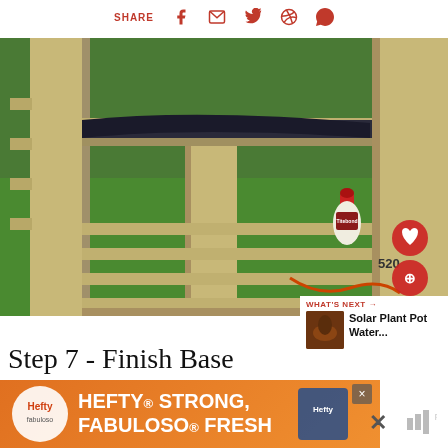SHARE
[Figure (photo): Wooden raised garden bed structure on grass with a bottle of Titebond glue nearby, black liner visible in the top section. Heart and share buttons with count 520 visible in bottom-right corner of photo.]
Step 7 - Finish Base Exterior
Wi... to...
[Figure (other): WHAT'S NEXT arrow callout with thumbnail image and text 'Solar Plant Pot Water...']
[Figure (other): Advertisement banner: Hefty STRONG, FABULOSO FRESH - orange background with product branding]